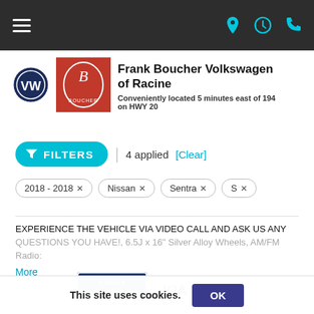Frank Boucher Volkswagen of Racine — navigation bar
Frank Boucher Volkswagen of Racine
Conveniently located 5 minutes east of 194 on HWY 20
FILTERS | 4 applied [Clear]
2018 - 2018 ×
Nissan ×
Sentra ×
S ×
EXPERIENCE THE VEHICLE VIA VIDEO CALL AND ASK US ANY QUESTIONS YOU HAVE!, 6.5J x 16" Silver Alloy Wheels, AM/FM Radio:
More
[Figure (logo): CARFAX 1-Owner Good Value badge]
[Figure (logo): KIA Certified Pre-Owned logo]
This site uses cookies.
OK